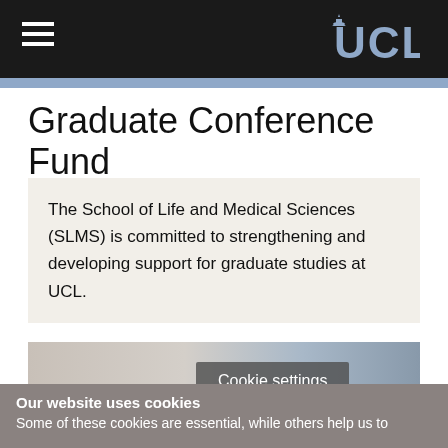UCL — navigation bar with hamburger menu and UCL logo
Graduate Conference Fund
The School of Life and Medical Sciences (SLMS) is committed to strengthening and developing support for graduate studies at UCL.
[Figure (photo): Partial photo of a conference or academic setting with a laptop/poster display]
Cookie settings
Our website uses cookies
Some of these cookies are essential, while others help us to